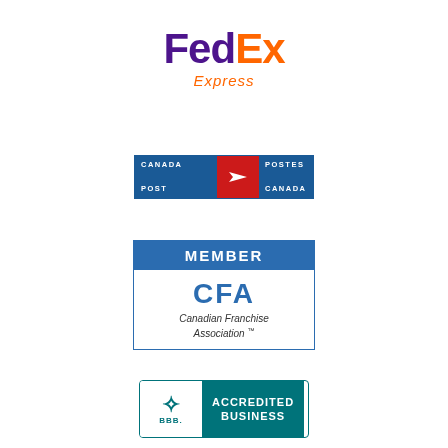[Figure (logo): FedEx Express logo — 'Fed' in purple, 'Ex' in orange, 'Express' in orange italic below]
[Figure (logo): Canada Post / Postes Canada bilingual logo badge with blue background and red emblem with arrow]
[Figure (logo): CFA Member badge — blue 'MEMBER' bar on top, white body with CFA Canadian Franchise Association logo]
[Figure (logo): BBB Accredited Business badge in teal — BBB symbol on white left, 'ACCREDITED BUSINESS' on teal right]